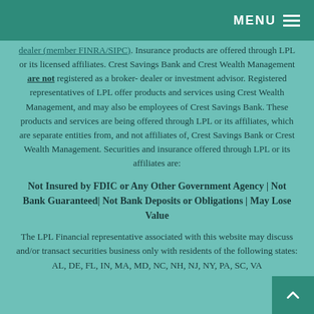MENU ≡
dealer (member FINRA/SIPC). Insurance products are offered through LPL or its licensed affiliates. Crest Savings Bank and Crest Wealth Management are not registered as a broker-dealer or investment advisor. Registered representatives of LPL offer products and services using Crest Wealth Management, and may also be employees of Crest Savings Bank. These products and services are being offered through LPL or its affiliates, which are separate entities from, and not affiliates of, Crest Savings Bank or Crest Wealth Management. Securities and insurance offered through LPL or its affiliates are:
Not Insured by FDIC or Any Other Government Agency | Not Bank Guaranteed| Not Bank Deposits or Obligations | May Lose Value
The LPL Financial representative associated with this website may discuss and/or transact securities business only with residents of the following states: AL, DE, FL, IN, MA, MD, NC, NH, NJ, NY, PA, SC, VA